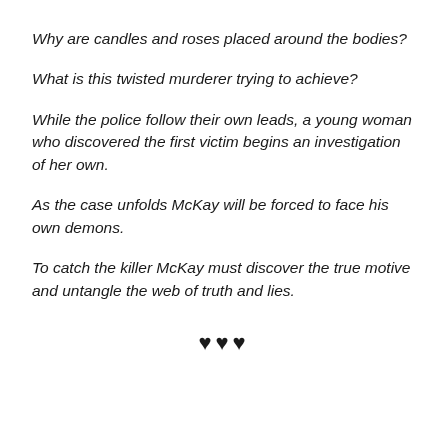Why are candles and roses placed around the bodies?
What is this twisted murderer trying to achieve?
While the police follow their own leads, a young woman who discovered the first victim begins an investigation of her own.
As the case unfolds McKay will be forced to face his own demons.
To catch the killer McKay must discover the true motive and untangle the web of truth and lies.
♥♥♥